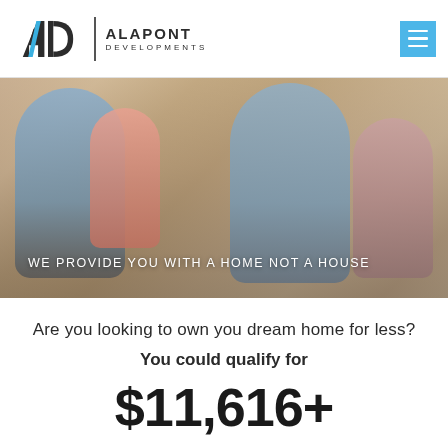[Figure (logo): Alapont Developments logo with AD monogram and company name]
[Figure (photo): Happy family with father, mother, and two children sitting together and laughing indoors]
WE PROVIDE YOU WITH A HOME NOT A HOUSE
Are you looking to own you dream home for less?
You could qualify for
$11,616+